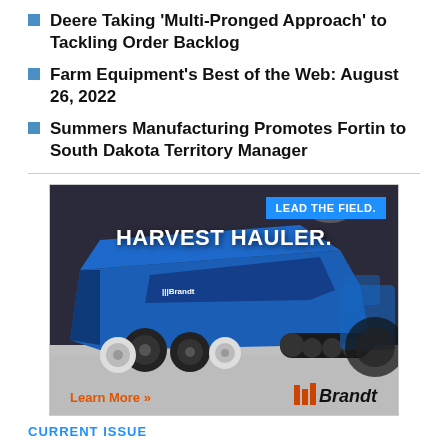Deere Taking 'Multi-Pronged Approach' to Tackling Order Backlog
Farm Equipment's Best of the Web: August 26, 2022
Summers Manufacturing Promotes Fortin to South Dakota Territory Manager
[Figure (photo): Brandt Harvest Hauler advertisement. Shows a large blue grain cart/hauler inside an industrial exhibition hall. Blue banner reads 'LEAD THE FIELD.' Large white text overlay reads 'HARVEST HAULER.' Bottom left shows 'Learn More »' in orange/red. Bottom right shows the Brandt logo with stylized bars and italic text.]
CURRENT ISSUE